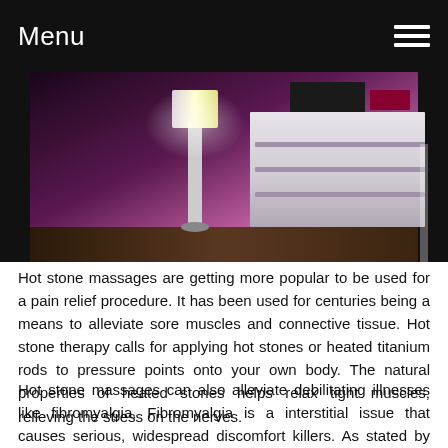Menu
[Figure (photo): Interior room photo showing a tall white floor lamp with bright light, white modular furniture/shelving unit against a purple/mauve wall, and dark wood flooring. Pink/purple ambient lighting.]
Hot stone massages are getting more popular to be used for a pain relief procedure. It has been used for centuries being a means to alleviate sore muscles and connective tissue. Hot stone therapy calls for applying hot stones or heated titanium rods to pressure points onto your own body. The natural properties of heated stones helps relax tight muscles, relieving the stress on the nerves.
Hot stone massages can also alleviate debilitating illnesses like fibromyalgia. Fibromyalgia is a interstitial issue that causes serious, widespread discomfort killers. As stated by your 2021 poll, those who have fibromyalgia who'd acquired a thirty-minute